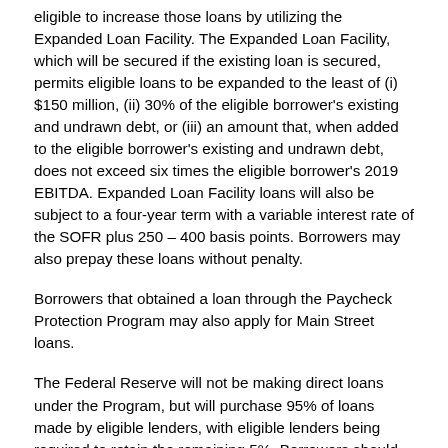eligible to increase those loans by utilizing the Expanded Loan Facility. The Expanded Loan Facility, which will be secured if the existing loan is secured, permits eligible loans to be expanded to the least of (i) $150 million, (ii) 30% of the eligible borrower's existing and undrawn debt, or (iii) an amount that, when added to the eligible borrower's existing and undrawn debt, does not exceed six times the eligible borrower's 2019 EBITDA. Expanded Loan Facility loans will also be subject to a four-year term with a variable interest rate of the SOFR plus 250 – 400 basis points. Borrowers may also prepay these loans without penalty.
Borrowers that obtained a loan through the Paycheck Protection Program may also apply for Main Street loans.
The Federal Reserve will not be making direct loans under the Program, but will purchase 95% of loans made by eligible lenders, with eligible lenders being required to retain the remaining 5%. Borrowers should accordingly apply for loans directly from eligible lenders. Eligible lenders consist of United States insured depository institutions, United States bank holding companies, and United States savings and loan companies. Eligible lenders must certify that proceeds of loans